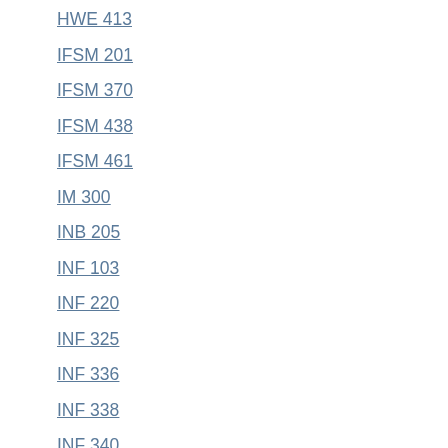HWE 413
IFSM 201
IFSM 370
IFSM 438
IFSM 461
IM 300
INB 205
INF 103
INF 220
INF 325
INF 336
INF 338
INF 340
INF 410
INFO 103 NEW
IO 6300
IO 6301
IO 6400
IO 6401